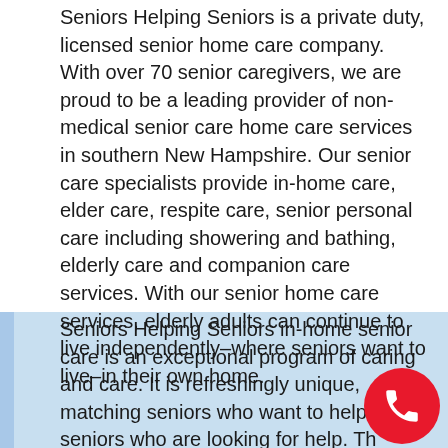Seniors Helping Seniors is a private duty, licensed senior home care company. With over 70 senior caregivers, we are proud to be a leading provider of non-medical senior care home care services in southern New Hampshire. Our senior care specialists provide in-home care, elder care, respite care, senior personal care including showering and bathing, elderly care and companion care services. With our senior home care services, elderly adults can continue to live independently–where seniors want to live–in their own home.
Seniors Helping Seniors in-home senior care is an exceptional program of caring and care. It is refreshingly unique, matching seniors who want to help with seniors who are looking for help. The strength and compassion that is born out of relationships shows us that it doesn't matter who is